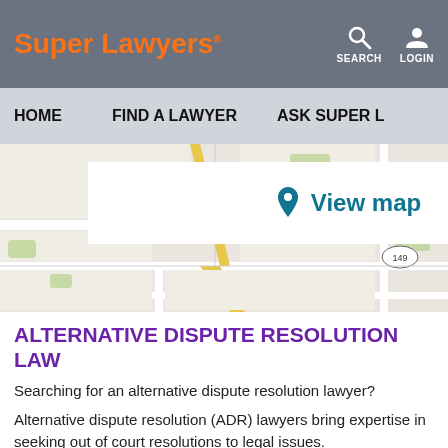Super Lawyers® SEARCH LOGIN
HOME   FIND A LAWYER   ASK SUPER L
[Figure (map): Street map showing a road intersection with a 'View map' overlay button in the center, featuring a location pin icon. Roads shown include a diagonal yellow road and route 149.]
ALTERNATIVE DISPUTE RESOLUTION LAW
Searching for an alternative dispute resolution lawyer?
Alternative dispute resolution (ADR) lawyers bring expertise in seeking out of court resolutions to legal issues.
Alternative dispute resolution can save significant time and money for parties by avoiding litigation and backlogged court